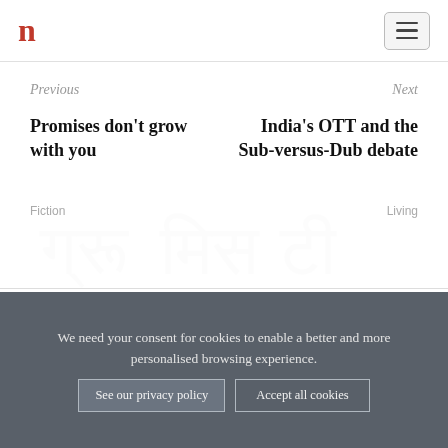n (logo)
Previous
Next
Promises don't grow with you
India's OTT and the Sub-versus-Dub debate
Fiction
Living
We need your consent for cookies to enable a better and more personalised browsing experience.
See our privacy policy
Accept all cookies
SHARE